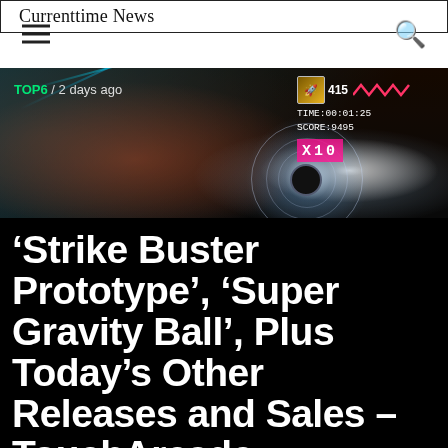Currenttime News
[Figure (screenshot): Video game screenshot showing a space shooter game with radial explosion effect, laser beams, HUD displaying TIME:00:01:25, SCORE:9495, and x10 multiplier, with zigzag design element in top right]
TOP6 / 2 days ago
‘Strike Buster Prototype’, ‘Super Gravity Ball’, Plus Today’s Other Releases and Sales – TouchArcade